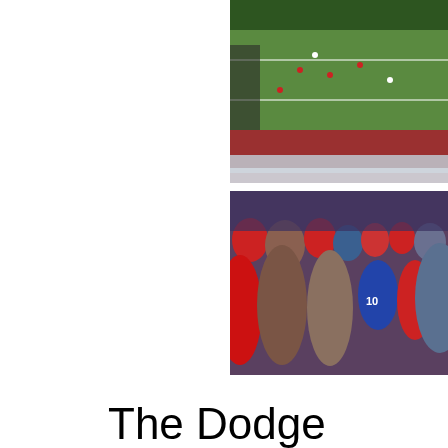[Figure (photo): Two photos of a high school football game. Top photo shows an aerial/elevated view of the football field with players and crowd visible. Bottom photo shows fans/spectators in the stands, many wearing red, watching the game.]
The Dodge County High Sch the Lucy C. Laney High Sch had a very enjoyable time, d of the children in attendance running up and down the me flip flops. It was surprisingly school football game. Fans a